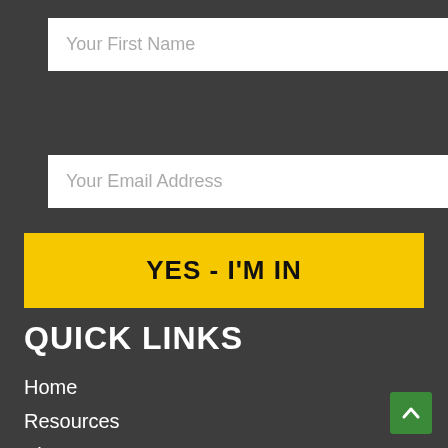Your First Name
Your Email Address
YES - I'M IN
QUICK LINKS
Home
Resources
About
InsuranceWand